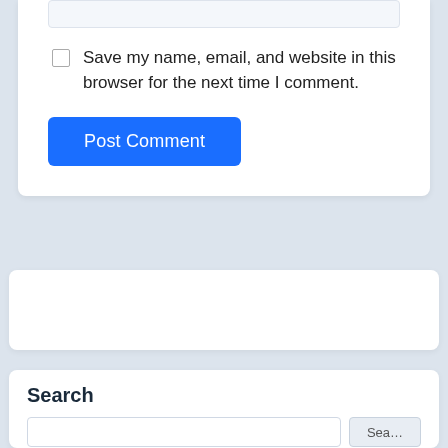Save my name, email, and website in this browser for the next time I comment.
Post Comment
Search